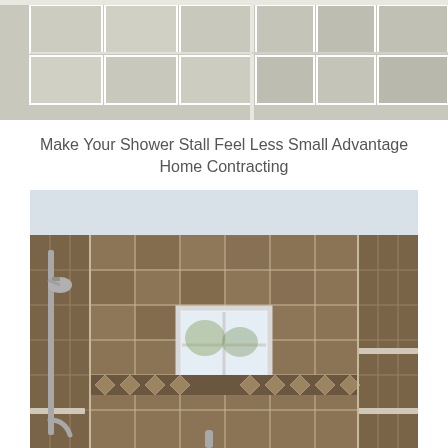[Figure (photo): Top portion of a tiled shower stall with white/light grey large rectangular tiles arranged in a grid pattern, showing two walls meeting at a corner]
Make Your Shower Stall Feel Less Small Advantage Home Contracting
[Figure (photo): Interior of a tiled shower stall with brown/taupe stone-look tiles covering three walls, a small square frosted window in the center back wall, a chrome/brushed nickel shower bar with handheld showerhead on the left wall, decorative diamond-pattern border tiles, built-in corner shelves, and a white ceiling]